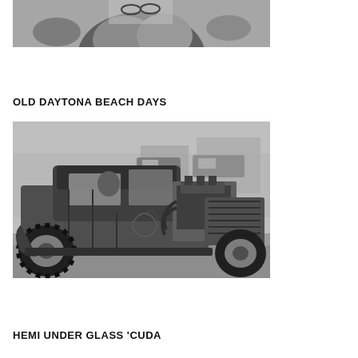[Figure (photo): Black and white photo (top portion visible) of a person, cropped at top of page]
OLD DAYTONA BEACH DAYS
[Figure (photo): Black and white photograph of a custom hot rod / rat rod vehicle at Daytona Beach, with exposed engine, decorative paint, and chrome wheels, parked on a street with other cars visible in background]
HEMI UNDER GLASS 'CUDA